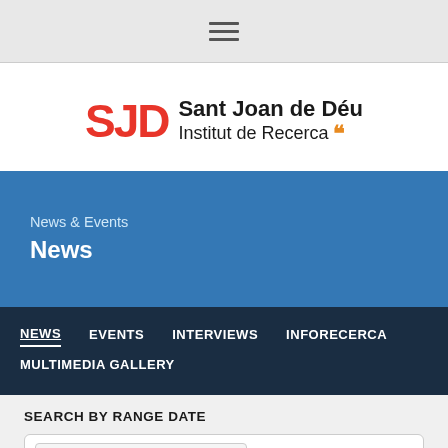[Figure (logo): Hamburger menu icon (three horizontal lines)]
[Figure (logo): SJD Sant Joan de Déu Institut de Recerca logo]
News & Events
News
NEWS   EVENTS   INTERVIEWS   INFORECERCA   MULTIMEDIA GALLERY
SEARCH BY RANGE DATE